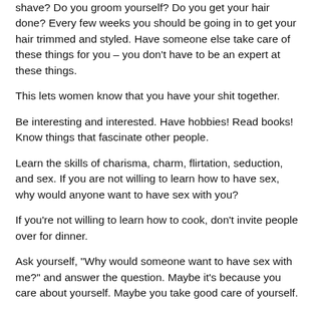shave? Do you groom yourself? Do you get your hair done? Every few weeks you should be going in to get your hair trimmed and styled. Have someone else take care of these things for you – you don't have to be an expert at these things.
This lets women know that you have your shit together.
Be interesting and interested. Have hobbies! Read books! Know things that fascinate other people.
Learn the skills of charisma, charm, flirtation, seduction, and sex. If you are not willing to learn how to have sex, why would anyone want to have sex with you?
If you're not willing to learn how to cook, don't invite people over for dinner.
Ask yourself, "Why would someone want to have sex with me?" and answer the question. Maybe it's because you care about yourself. Maybe you take good care of yourself.